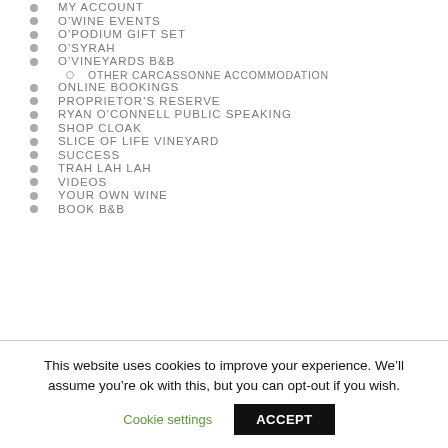MY ACCOUNT
O’WINE EVENTS
O’PODIUM GIFT SET
O’SYRAH
O’VINEYARDS B&B
OTHER CARCASSONNE ACCOMMODATION
ONLINE BOOKINGS
PROPRIETOR’S RESERVE
RYAN O’CONNELL PUBLIC SPEAKING
SHOP CLOAK
SLICE OF LIFE VINEYARD
SUCCESS
TRAH LAH LAH
VIDEOS
YOUR OWN WINE
BOOK B&B
This website uses cookies to improve your experience. We’ll assume you’re ok with this, but you can opt-out if you wish.
Cookie settings
ACCEPT